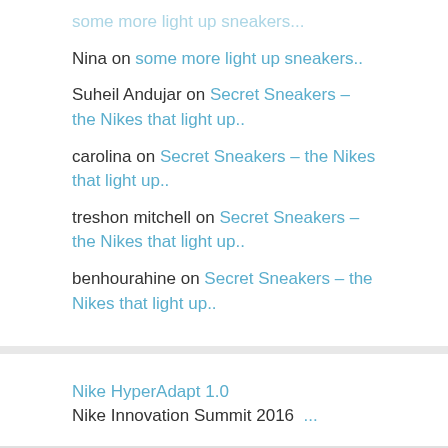Nina on some more light up sneakers..
Suheil Andujar on Secret Sneakers – the Nikes that light up..
carolina on Secret Sneakers – the Nikes that light up..
treshon mitchell on Secret Sneakers – the Nikes that light up..
benhourahine on Secret Sneakers – the Nikes that light up..
Nike HyperAdapt 1.0
Nike Innovation Summit 2016  ...